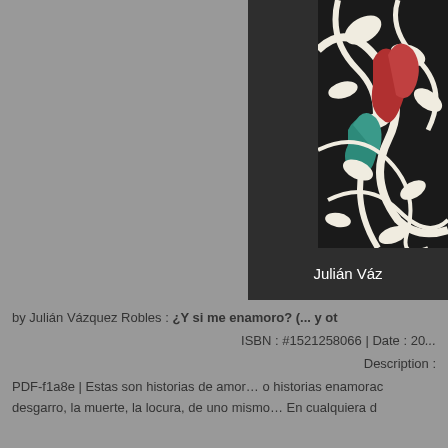[Figure (illustration): Book cover with colorful woodcut-style illustration of intertwined tree branches with red and teal figures, dark background with author name 'Julián Váz...' at bottom]
by Julián Vázquez Robles : ¿Y si me enamoro? (... y ot
ISBN : #1521258066 | Date : 20...
Description :
PDF-f1a8e | Estas son historias de amor… o historias enamorac
desgarro, la muerte, la locura, de uno mismo… En cualquiera d